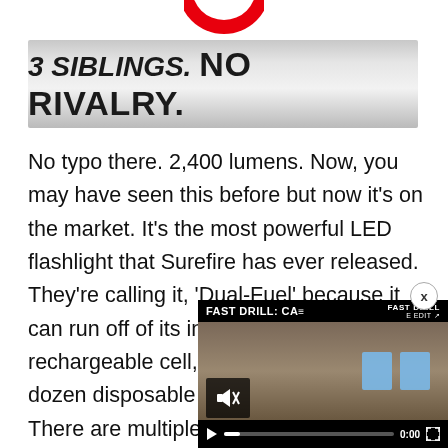[Figure (logo): Partial red circular logo at top center of page]
3 SIBLINGS. NO RIVALRY.
No typo there. 2,400 lumens. Now, you may have seen this before but now it's on the market. It's the most powerful LED flashlight that Surefire has ever released. They're calling it, 'Dual-Fuel' because it can run off of its included lithium-ion rechargeable cell, or from a whopping dozen disposable CR123A batteries. There are multiple light settings to include a strobe setting color-coded battery gauge lights, it's constructed of h and includes O-ring and g
[Figure (screenshot): Embedded video overlay in bottom-right corner showing 'FAST DRILL: CA' with mute icon, play button, progress bar at 0:00, and fullscreen button. Close button (x) at top-right of video.]